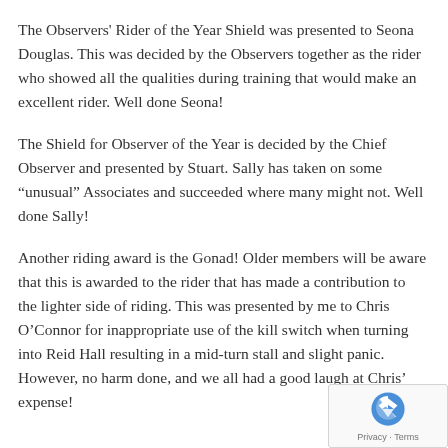The Observers' Rider of the Year Shield was presented to Seona Douglas. This was decided by the Observers together as the rider who showed all the qualities during training that would make an excellent rider. Well done Seona!
The Shield for Observer of the Year is decided by the Chief Observer and presented by Stuart. Sally has taken on some “unusual” Associates and succeeded where many might not. Well done Sally!
Another riding award is the Gonad! Older members will be aware that this is awarded to the rider that has made a contribution to the lighter side of riding. This was presented by me to Chris O’Connor for inappropriate use of the kill switch when turning into Reid Hall resulting in a mid-turn stall and slight panic. However, no harm done, and we all had a good laugh at Chris’ expense!